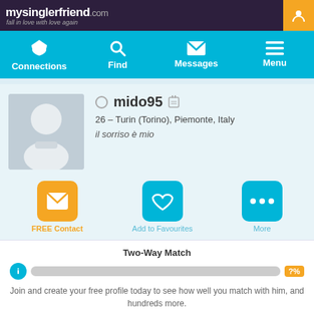mysinglerfriend.com — fall in love with love again
[Figure (screenshot): Navigation bar with Connections, Find, Messages, Menu icons on teal background]
[Figure (photo): Placeholder profile photo — grey silhouette of a man]
mido95
26 – Turin (Torino), Piemonte, Italy
il sorriso è mio
[Figure (infographic): Action buttons: FREE Contact (yellow envelope), Add to Favourites (teal heart), More (teal ellipsis)]
Two-Way Match
Join and create your free profile today to see how well you match with him, and hundreds more.
Join now
Online: More than 6 months ago